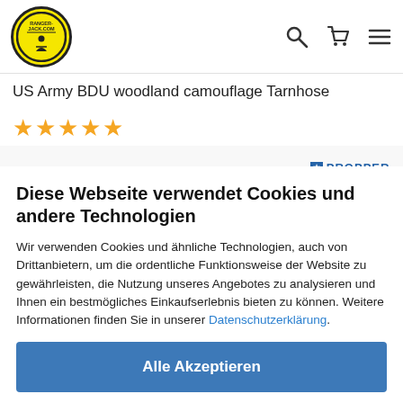[Figure (logo): Ranger-Jack.com circular logo with yellow background]
US Army BDU woodland camouflage Tarnhose
★★★★★
[Figure (logo): PROPPER brand logo with blue star and text]
Diese Webseite verwendet Cookies und andere Technologien
Wir verwenden Cookies und ähnliche Technologien, auch von Drittanbietern, um die ordentliche Funktionsweise der Website zu gewährleisten, die Nutzung unseres Angebotes zu analysieren und Ihnen ein bestmögliches Einkaufserlebnis bieten zu können. Weitere Informationen finden Sie in unserer Datenschutzerklärung.
Alle Akzeptieren
Weitere Informationen